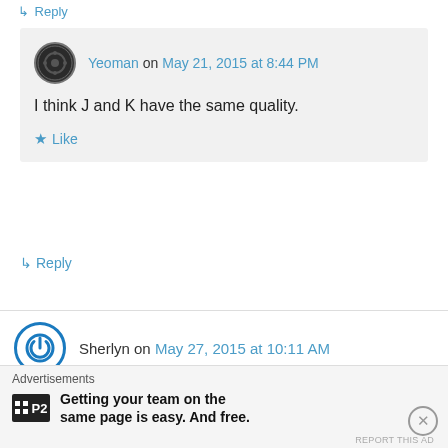↳ Reply
Yeoman on May 21, 2015 at 8:44 PM
I think J and K have the same quality.
★ Like
↳ Reply
Sherlyn on May 27, 2015 at 10:11 AM
Hi Hi chanced upon your website. Recently I found a seiko watch at home. Doesn't look that modern And new but im interested to find out
Advertisements
Getting your team on the same page is easy. And free.